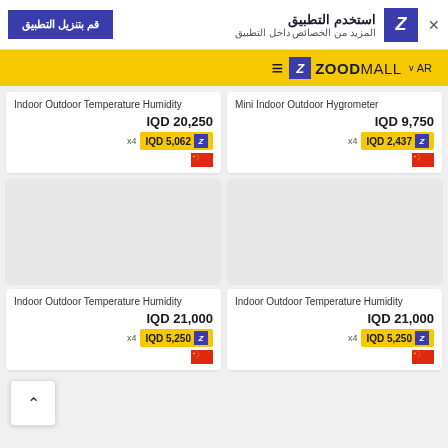استخدم التطبيق / المزيد من الخصائص داخل التطبيق / قم بتنزيل التطبيق
AR ZOODMALL
Indoor Outdoor Temperature Humidity IQD 20,250 x4 IQD 5,062
Mini Indoor Outdoor Hygrometer IQD 9,750 x4 IQD 2,437
Indoor Outdoor Temperature Humidity IQD 21,000 x4 IQD 5,250
Indoor Outdoor Temperature Humidity IQD 21,000 x4 IQD 5,250